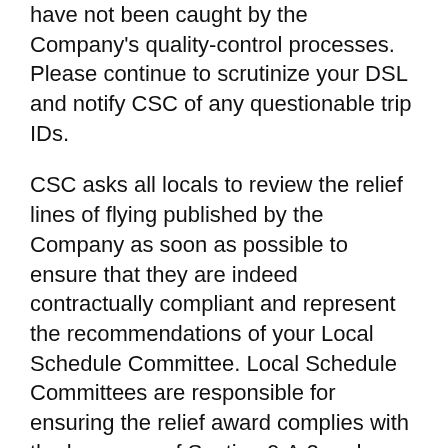have not been caught by the Company's quality-control processes. Please continue to scrutinize your DSL and notify CSC of any questionable trip IDs.
CSC asks all locals to review the relief lines of flying published by the Company as soon as possible to ensure that they are indeed contractually compliant and represent the recommendations of your Local Schedule Committee. Local Schedule Committees are responsible for ensuring the relief award complies with the language of Section 9.A.2 and 9.A.3 of the Contract.
It is incumbent on Local Schedule Committee Chairpersons to ensure that recommendations